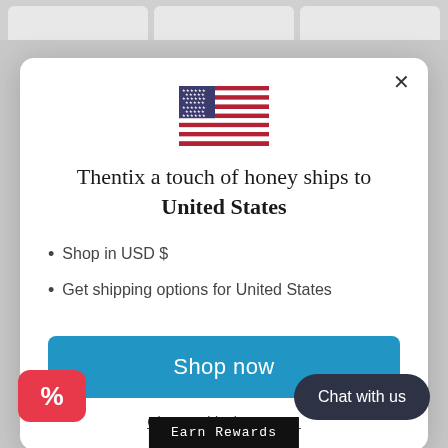[Figure (illustration): US flag SVG illustration centered at top of modal]
Thentix a touch of honey ships to United States
Shop in USD $
Get shipping options for United States
Shop now
Change shipping country
Chat with us
%
Earn Rewards